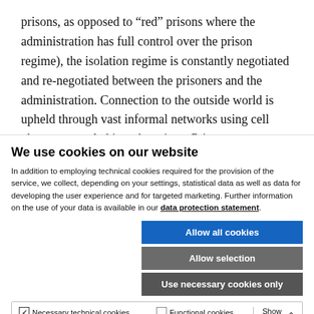prisons, as opposed to “red” prisons where the administration has full control over the prison regime), the isolation regime is constantly negotiated and re-negotiated between the prisoners and the administration. Connection to the outside world is upheld through vast informal networks using cell phones smuggled into the prison. Prisoners stay connected to
We use cookies on our website
In addition to employing technical cookies required for the provision of the service, we collect, depending on your settings, statistical data as well as data for developing the user experience and for targeted marketing. Further information on the use of your data is available in our data protection statement.
Allow all cookies
Allow selection
Use necessary cookies only
Necessary technical cookies  Functional cookies  Statistics cookies  Marketing cookies  Show details